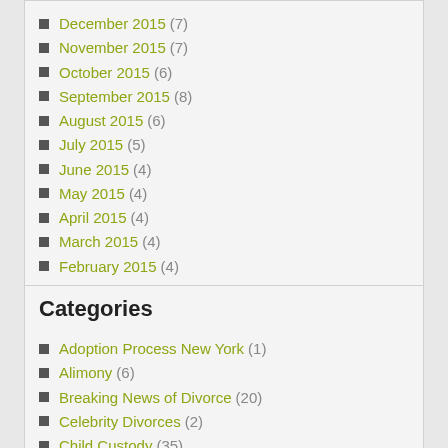December 2015 (7)
November 2015 (7)
October 2015 (6)
September 2015 (8)
August 2015 (6)
July 2015 (5)
June 2015 (4)
May 2015 (4)
April 2015 (4)
March 2015 (4)
February 2015 (4)
January 2015 (4)
December 2014 (4)
November 2014 (5)
October 2014 (7)
August 2012 (11)
Categories
Adoption Process New York (1)
Alimony (6)
Breaking News of Divorce (20)
Celebrity Divorces (2)
Child Custody (35)
Child Support (22)
Co-Parenting (1)